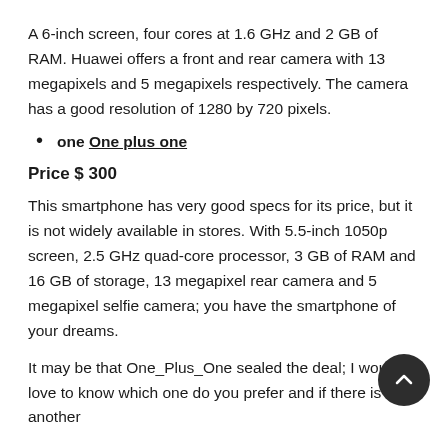A 6-inch screen, four cores at 1.6 GHz and 2 GB of RAM. Huawei offers a front and rear camera with 13 megapixels and 5 megapixels respectively. The camera has a good resolution of 1280 by 720 pixels.
one One plus one
Price $ 300
This smartphone has very good specs for its price, but it is not widely available in stores. With 5.5-inch 1050p screen, 2.5 GHz quad-core processor, 3 GB of RAM and 16 GB of storage, 13 megapixel rear camera and 5 megapixel selfie camera; you have the smartphone of your dreams.
It may be that One_Plus_One sealed the deal; I would love to know which one do you prefer and if there is another